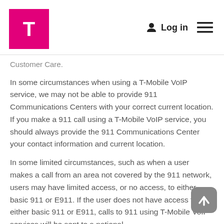T-Mobile Logo — Log in — Menu
Customer Care.
In some circumstances when using a T-Mobile VoIP service, we may not be able to provide 911 Communications Centers with your correct current location. If you make a 911 call using a T-Mobile VoIP service, you should always provide the 911 Communications Center your contact information and current location.
In some limited circumstances, such as when a user makes a call from an area not covered by the 911 network, users may have limited access, or no access, to either basic 911 or E911. If the user does not have access to either basic 911 or E911, calls to 911 using T-Mobile VoIP services will be sent to a national